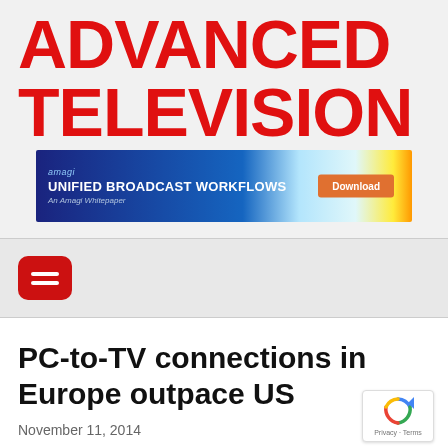ADVANCED TELEVISION
[Figure (infographic): Amagi advertisement banner: 'UNIFIED BROADCAST WORKFLOWS – An Amagi Whitepaper' with a Download button, blue background with light trail imagery]
[Figure (other): Red rounded-square hamburger menu button with two white horizontal lines]
PC-to-TV connections in Europe outpace US
November 11, 2014